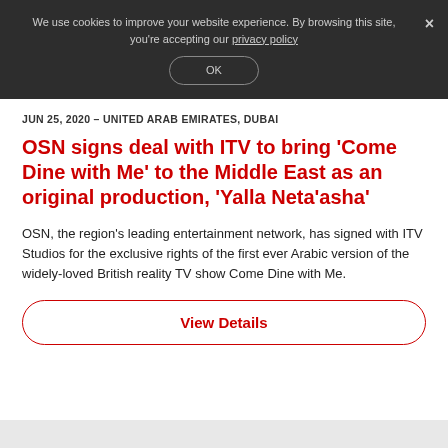We use cookies to improve your website experience. By browsing this site, you’re accepting our privacy policy
OK
JUN 25, 2020 – UNITED ARAB EMIRATES, DUBAI
OSN signs deal with ITV to bring ‘Come Dine with Me’ to the Middle East as an original production, ‘Yalla Neta’asha’
OSN, the region’s leading entertainment network, has signed with ITV Studios for the exclusive rights of the first ever Arabic version of the widely-loved British reality TV show Come Dine with Me.
View Details